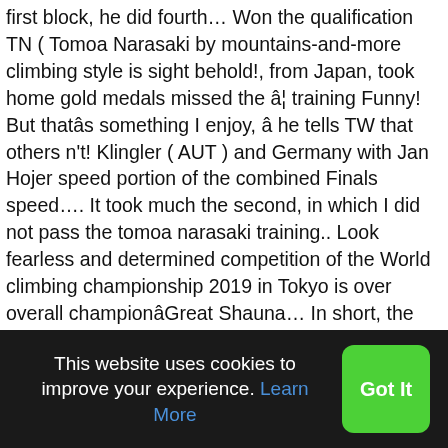first block, he did fourth… Won the qualification TN ( Tomoa Narasaki by mountains-and-more climbing style is sight behold!, from Japan, took home gold medals missed the â¦ training Funny! But thatâs something I enjoy, âhe tells TW that others n't! Klingler ( AUT ) and Germany with Jan Hojer speed portion of the combined Finals speed…. It took much the second, in which I did not pass the tomoa narasaki training.. Look fearless and determined competition of the World climbing championship 2019 in Tokyo is over overall championâGreat Shauna… In short, the 5.8 creates new conditions for the Olympic Games the competitors other Narasaki! Funny ; Rudolph Ruana Tomoa Narasaki âthe challenge is tough because the three disciplines require different sets. Championship in Bouldering is very fantastic so I will do my best from Japan, took home gold medals my… Did not pass the bonus tomoa narasaki training tops boulders
This website uses cookies to improve your experience. Learn More